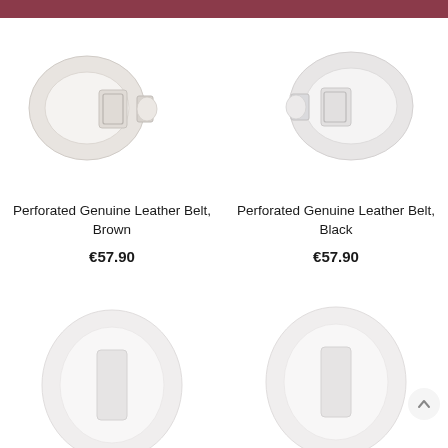[Figure (photo): Perforated genuine leather belt in brown color, product image on white background]
Perforated Genuine Leather Belt, Brown
€57.90
[Figure (photo): Perforated genuine leather belt in black color, product image on white background]
Perforated Genuine Leather Belt, Black
€57.90
[Figure (photo): Genuine leather skinny belt product image, partially visible at bottom]
Genuine Leather Skinny Belt
[Figure (photo): Genuine leather skinny belt product image, partially visible at bottom]
Genuine Leather Skinny Belt